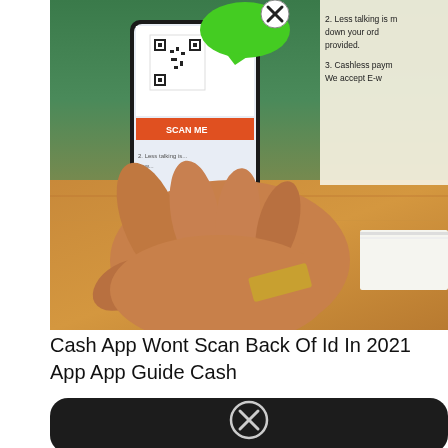[Figure (photo): Photo of a hand holding a smartphone displaying a QR code scan screen, with a sign in the background showing text about cashless payments and ordering instructions. A green speech bubble with an X icon overlays the top of the phone screen. The scene is set on a wooden counter.]
Cash App Wont Scan Back Of Id In 2021 App App Guide Cash
[Figure (photo): Partial view of a dark smartphone with a circle X icon visible at the top center, cropped at the bottom of the page.]